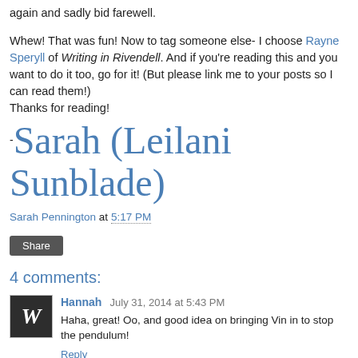again and sadly bid farewell.
Whew! That was fun! Now to tag someone else- I choose Rayne Speryll of Writing in Rivendell. And if you're reading this and you want to do it too, go for it! (But please link me to your posts so I can read them!)
Thanks for reading!
-Sarah (Leilani Sunblade)
Sarah Pennington at 5:17 PM
Share
4 comments:
Hannah  July 31, 2014 at 5:43 PM
Haha, great! Oo, and good idea on bringing Vin in to stop the pendulum!
Reply